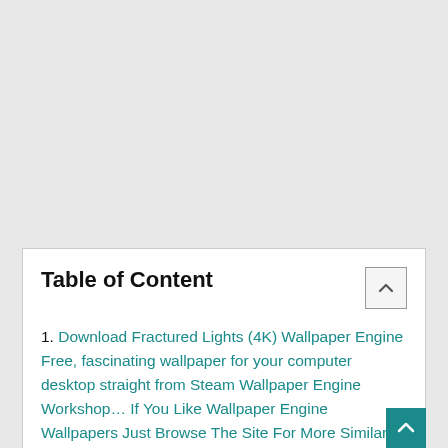Table of Content
1. Download Fractured Lights (4K) Wallpaper Engine Free, fascinating wallpaper for your computer desktop straight from Steam Wallpaper Engine Workshop… If You Like Wallpaper Engine Wallpapers Just Browse The Site For More Similar Wallpapers.
1.1 Fractured Lights (4K) Wallpaper Engine Free